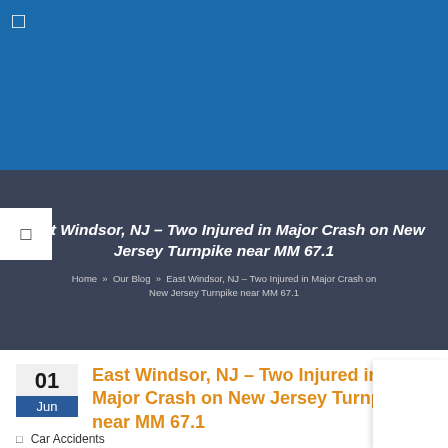[Figure (screenshot): Blue website header background with small icon]
East Windsor, NJ – Two Injured in Major Crash on New Jersey Turnpike near MM 67.1
Home » Our Blog » East Windsor, NJ – Two Injured in Major Crash on New Jersey Turnpike near MM 67.1
East Windsor, NJ – Two Injured in Major Crash on New Jersey Turnpike near MM 67.1
01 Jun
Car Accidents